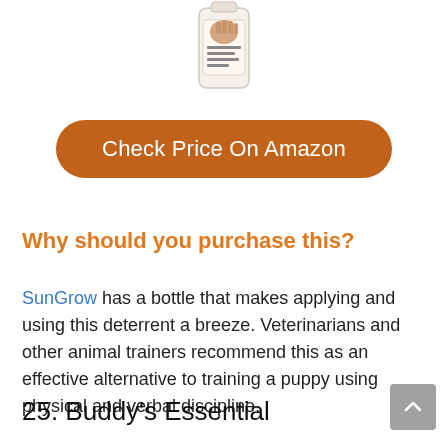[Figure (photo): Partial product image of a bottle with a label showing a hand graphic and text, cropped at the top of the page]
Check Price On Amazon
Why should you purchase this?
SunGrow has a bottle that makes applying and using this deterrent a breeze. Veterinarians and other animal trainers recommend this as an effective alternative to training a puppy using physical and verbal discipline.
25. Buddy's Essential